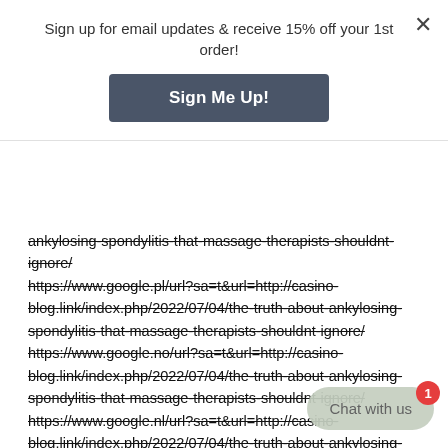Sign up for email updates & receive 15% off your 1st order!
[Figure (other): Sign Me Up! button — dark slate blue rectangular button with white bold text]
ankylosing-spondylitis-that-massage-therapists-shouldnt-ignore/
https://www.google.pl/url?sa=t&url=http://casino-blog.link/index.php/2022/07/04/the-truth-about-ankylosing-spondylitis-that-massage-therapists-shouldnt-ignore/
https://www.google.no/url?sa=t&url=http://casino-blog.link/index.php/2022/07/04/the-truth-about-ankylosing-spondylitis-that-massage-therapists-shouldnt-ignore/
https://www.google.nl/url?sa=t&url=http://casino-blog.link/index.php/2022/07/04/the-truth-about-ankylosing-spondylitis-that-massage-therapists-shouldnt-ignore/
[Figure (other): Chat with us button — muted green rounded pill shape with badge showing 1]